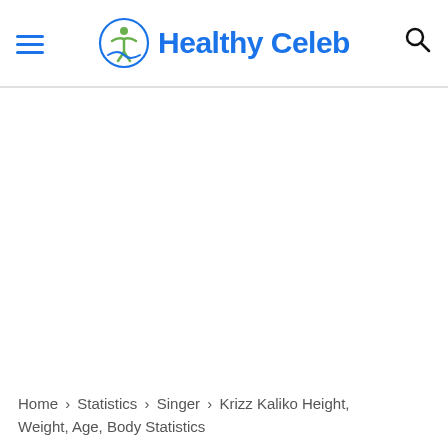Healthy Celeb
Home › Statistics › Singer › Krizz Kaliko Height, Weight, Age, Body Statistics